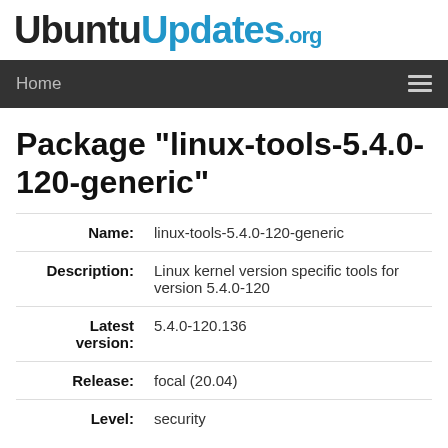UbuntuUpdates.org
Home
Package "linux-tools-5.4.0-120-generic"
| Field | Value |
| --- | --- |
| Name: | linux-tools-5.4.0-120-generic |
| Description: | Linux kernel version specific tools for version 5.4.0-120 |
| Latest version: | 5.4.0-120.136 |
| Release: | focal (20.04) |
| Level: | security |